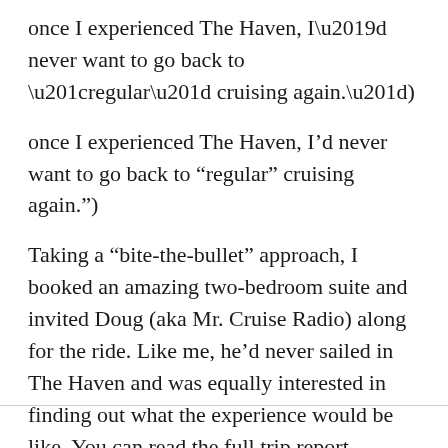once I experienced The Haven, I’d never want to go back to “regular” cruising again.”)
Taking a “bite-the-bullet” approach, I booked an amazing two-bedroom suite and invited Doug (aka Mr. Cruise Radio) along for the ride. Like me, he’d never sailed in The Haven and was equally interested in finding out what the experience would be like. You can read the full trip report, starting with Day 1 here, so what follows will be less a blow-by-blow than an overview.